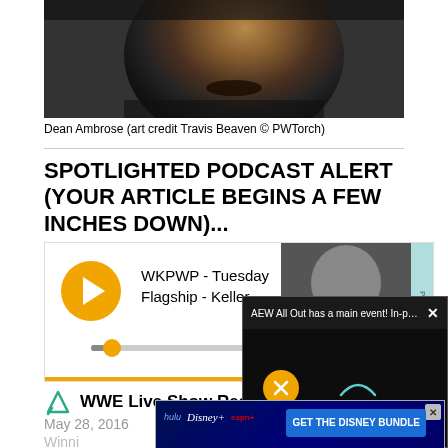[Figure (photo): Cropped illustration/artwork of Dean Ambrose character face, dark moody style]
Dean Ambrose (art credit Travis Beaven © PWTorch)
SPOTLIGHTED PODCAST ALERT (YOUR ARTICLE BEGINS A FEW INCHES DOWN)...
[Figure (screenshot): Podcast player widget showing WKPWP - Tuesday Flagship - Keller ... with play button, progress bar, star icon, and thumbnail image]
[Figure (screenshot): Video popup overlay: AEW All Out has a main event! In-person... with mute button and loading arc on dark background]
WWE Live Show Resu
May 28, 2016
Winni
In-pe
correspondent
[Figure (screenshot): Disney Bundle advertisement: hulu Disney+ ESPN+ GET THE DISNEY BUNDLE. Incl. Hulu (ad-supported) or Hulu (No Ads). Access content from each service separately. ©2021 Disney and its related entities]